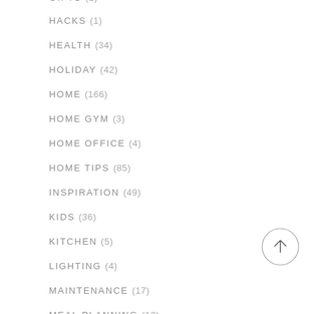GIFTS (1)
HACKS (1)
HEALTH (34)
HOLIDAY (42)
HOME (166)
HOME GYM (3)
HOME OFFICE (4)
HOME TIPS (85)
INSPIRATION (49)
KIDS (36)
KITCHEN (5)
LIGHTING (4)
MAINTENANCE (17)
MEAL PLANNING (13)
MOVIES (2)